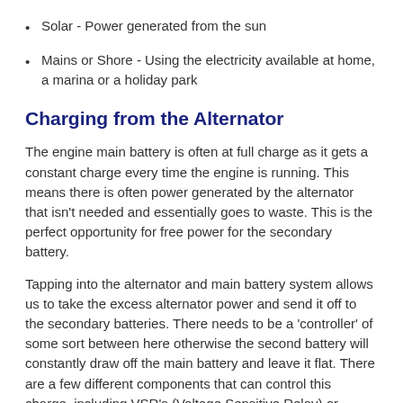Solar - Power generated from the sun
Mains or Shore - Using the electricity available at home, a marina or a holiday park
Charging from the Alternator
The engine main battery is often at full charge as it gets a constant charge every time the engine is running. This means there is often power generated by the alternator that isn't needed and essentially goes to waste. This is the perfect opportunity for free power for the secondary battery.
Tapping into the alternator and main battery system allows us to take the excess alternator power and send it off to the secondary batteries. There needs to be a 'controller' of some sort between here otherwise the second battery will constantly draw off the main battery and leave it flat. There are a few different components that can control this charge, including VSR's (Voltage Sensitive Relay) or Battery Isolators and DC-DC chargers